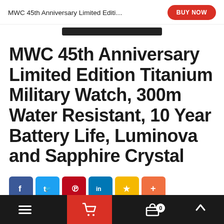MWC 45th Anniversary Limited Editi…
MWC 45th Anniversary Limited Edition Titanium Military Watch, 300m Water Resistant, 10 Year Battery Life, Luminova and Sapphire Crystal
BUY NOW
Social share buttons: Facebook, Twitter, Pinterest, LinkedIn, Bookmark, More
Navigation bar: Menu | Cart (0) | Basket | Up